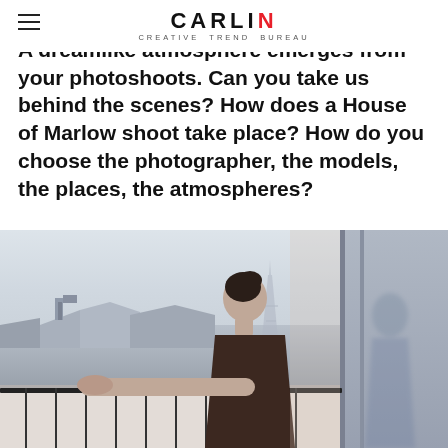CARLIN CREATIVE TREND BUREAU
A dreamlike atmosphere emerges from your photoshoots. Can you take us behind the scenes? How does a House of Marlow shoot take place? How do you choose the photographer, the models, the places, the atmospheres?
[Figure (photo): A woman with dark hair in a bun, seen from behind, leaning on a balcony railing overlooking Parisian rooftops with a hazy sky. The Eiffel Tower is faintly visible in the background. A glass door or window frame is visible on the right side of the image.]